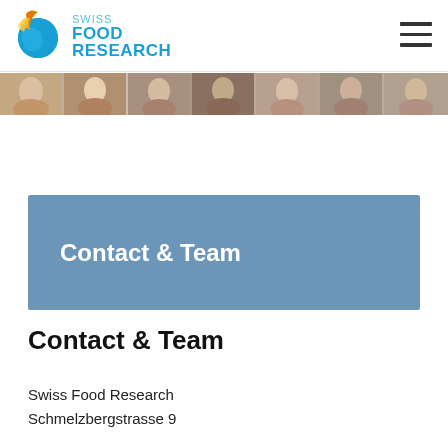Swiss Food Research
[Figure (photo): Strip of team member portrait photos]
Contact & Team
Contact & Team
Swiss Food Research
Schmelzbergstrasse 9